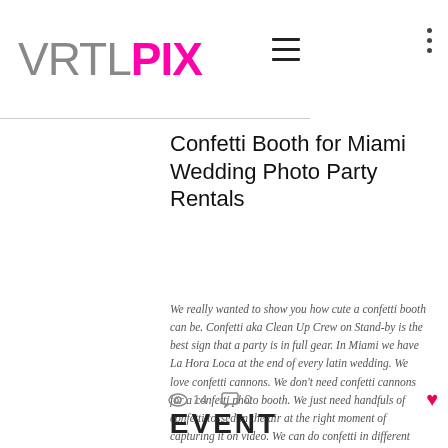VRTL PIX
Confetti Booth for Miami Wedding Photo Party Rentals
We really wanted to show you how cute a confetti booth can be. Confetti aka Clean Up Crew on Stand-by is the best sign that a party is in full gear. In Miami we have La Hora Loca at the end of every latin wedding. We love confetti cannons. We don't need confetti cannons for a confetti photo booth. We just need handfuls of confetti tossed in the air at the right moment of capturing it on video. We can do confetti in different colors to match your event's theme. Remember this w
14 views  0 comments
EVENT